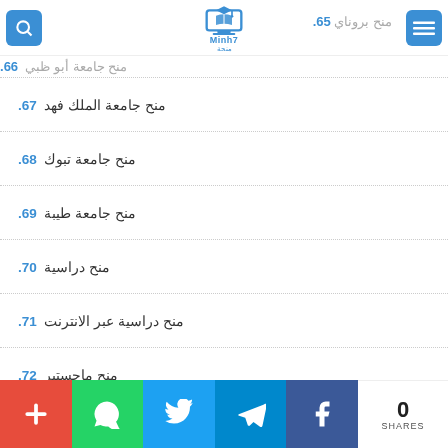Minh7 logo and navigation header
65. منح بروناي
66. منح جامعة أبو ظبي
67. منح جامعة الملك فهد
68. منح جامعة تبوك
69. منح جامعة طيبة
70. منح دراسية
71. منح دراسية عبر الانترنت
72. منح ماجستير
73. منح مؤسسة عبدالله الغرير
74. منح مالية
75. منح ممولة بالكامل
0 SHARES | Facebook | Telegram | Twitter | WhatsApp | Plus